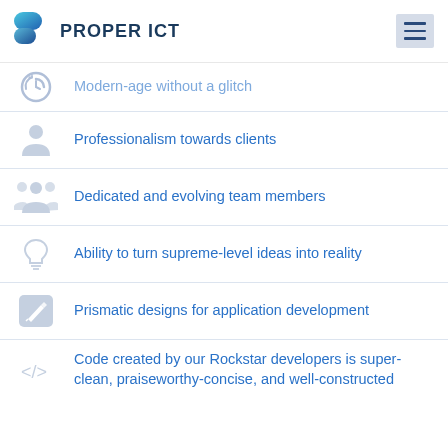PROPER ICT
Modern-age without a glitch
Professionalism towards clients
Dedicated and evolving team members
Ability to turn supreme-level ideas into reality
Prismatic designs for application development
Code created by our Rockstar developers is super-clean, praiseworthy-concise, and well-constructed